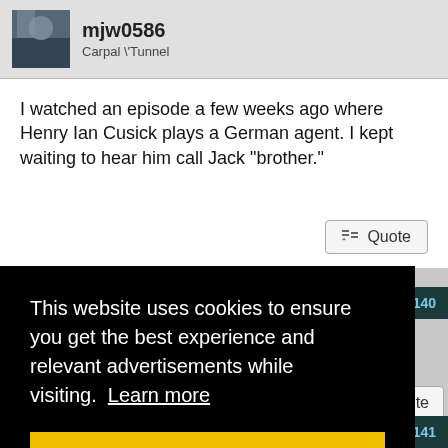mjw0586
Carpal \"Tunnel
I watched an episode a few weeks ago where Henry Ian Cusick plays a German agent. I kept waiting to hear him call Jack "brother."
04-25-2010, 09:27 PM    #1140
This website uses cookies to ensure you get the best experience and relevant advertisements while visiting.  Learn more
Got it!
#1141